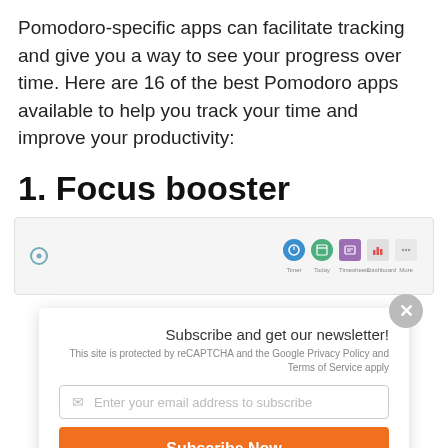Pomodoro-specific apps can facilitate tracking and give you a way to see your progress over time. Here are 16 of the best Pomodoro apps available to help you track your time and improve your productivity:
1. Focus booster
[Figure (screenshot): A screenshot of the Focus booster app interface showing a small icon on the left and navigation icons (Timer, Today, Timesheets, Dashboard, More) on the right.]
Subscribe and get our newsletter!
This site is protected by reCAPTCHA and the Google Privacy Policy and Terms of Service apply